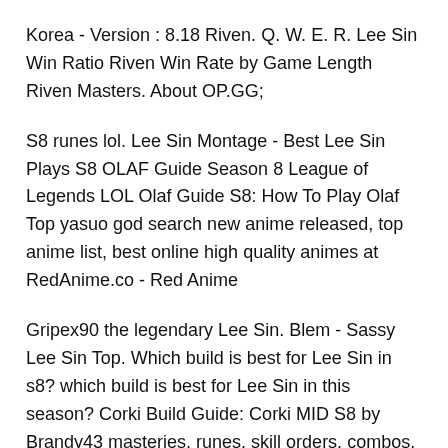Korea - Version : 8.18 Riven. Q. W. E. R. Lee Sin Win Ratio Riven Win Rate by Game Length Riven Masters. About OP.GG;
S8 runes lol. Lee Sin Montage - Best Lee Sin Plays S8 OLAF Guide Season 8 League of Legends LOL Olaf Guide S8: How To Play Olaf Top yasuo god search new anime released, top anime list, best online high quality animes at RedAnime.co - Red Anime
Gripex90 the legendary Lee Sin. Blem - Sassy Lee Sin Top. Which build is best for Lee Sin in s8? which build is best for Lee Sin in this season? Corki Build Guide: Corki MID S8 by Brandy43 masteries, runes, skill orders, combos, pro builds and statistics by top, jungle, mid, adc, support in s8 lee sin
Which build is best for Lee Sin in s8? LeeSinMains - reddit.